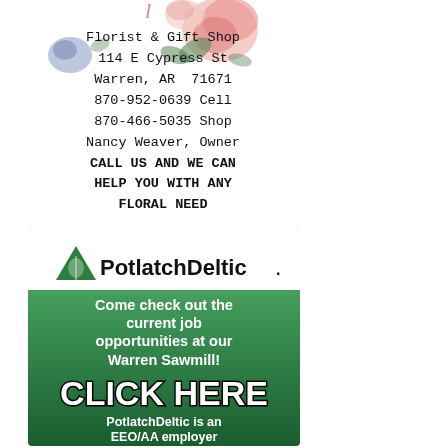[Figure (illustration): Floral decorative background with flowers (roses and leaves in pink, blue, green) in top portion of florist ad]
Florist & Gift Shop
114 E Cypress St
Warren, AR  71671
870-952-0639 Cell
870-466-5035 Shop
Nancy Weaver, Owner
CALL US AND WE CAN HELP YOU WITH ANY FLORAL NEED
[Figure (logo): PotlatchDeltic advertisement with green gradient background. Contains PotlatchDeltic logo (triangle tree icon + brand name), text 'Come check out the current job opportunities at our Warren Sawmill!', 'CLICK HERE' in large bold black-outlined white text, 'PotlatchDeltic is an EEO/AA employer' at bottom.]